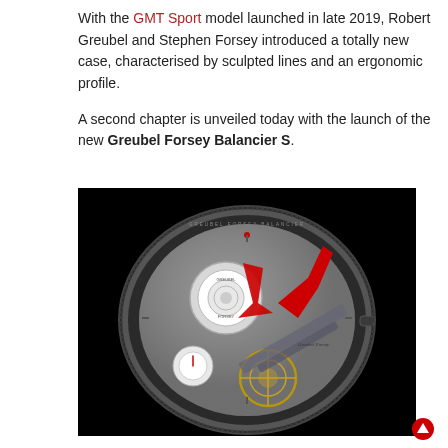With the GMT Sport model launched in late 2019, Robert Greubel and Stephen Forsey introduced a totally new case, characterised by sculpted lines and an ergonomic profile.
A second chapter is unveiled today with the launch of the new Greubel Forsey Balancier S.
[Figure (photo): Close-up photograph of a Greubel Forsey Balancier S luxury watch against a black background, showing the skeletonized dial with red arrow hands, circular Greubel Forsey logo subdial, small seconds subdial, balance wheel, and engraved case.]